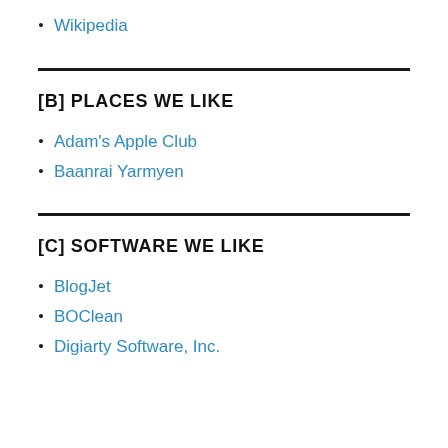Wikipedia
[B] PLACES WE LIKE
Adam's Apple Club
Baanrai Yarmyen
[C] SOFTWARE WE LIKE
BlogJet
BOClean
Digiarty Software, Inc.